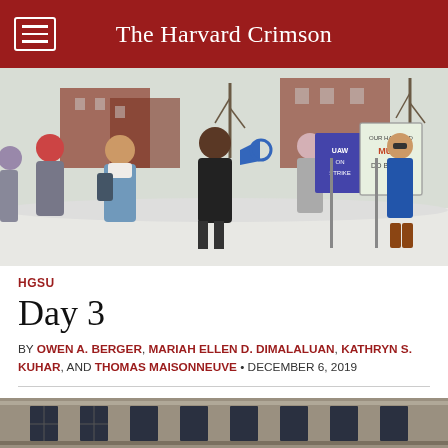The Harvard Crimson
[Figure (photo): Outdoor winter protest scene with people holding UAW strike signs and a sign reading 'Our Harvard Must Do Better'. A person speaks into a megaphone. Snow is on the ground.]
HGSU
Day 3
BY OWEN A. BERGER, MARIAH ELLEN D. DIMALALUAN, KATHRYN S. KUHAR, AND THOMAS MAISONNEUVE • DECEMBER 6, 2019
[Figure (photo): Bottom partial photo of a building exterior, partially visible.]